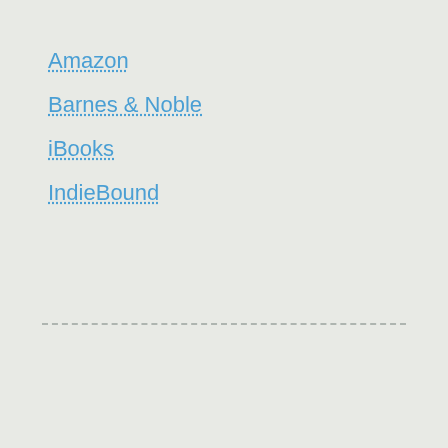Amazon
Barnes & Noble
iBooks
IndieBound